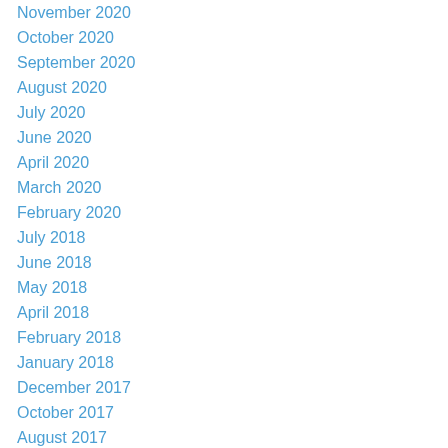November 2020
October 2020
September 2020
August 2020
July 2020
June 2020
April 2020
March 2020
February 2020
July 2018
June 2018
May 2018
April 2018
February 2018
January 2018
December 2017
October 2017
August 2017
July 2017
May 2017